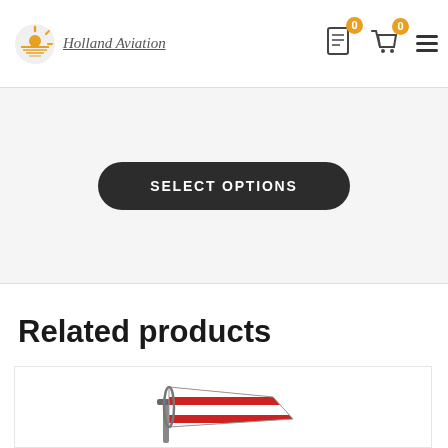Holland Aviation
SELECT OPTIONS
Related products
[Figure (photo): Red and white striped aviation windsock mounted on a pole, shown at an angle against a white background]